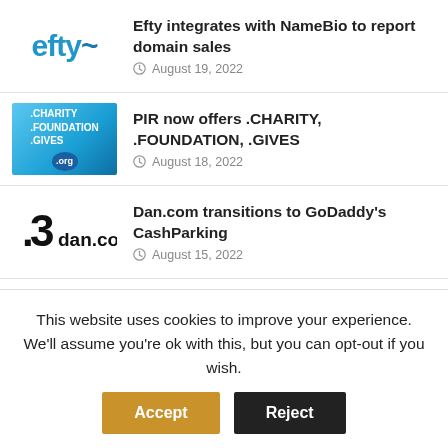Efty integrates with NameBio to report domain sales — August 19, 2022
PIR now offers .CHARITY, .FOUNDATION, .GIVES — August 18, 2022
Dan.com transitions to GoDaddy's CashParking — August 15, 2022
Tucows reports Q2 2022 results — August 12, 2022
Mike Mann sells 10 domains for $283,383 in June
This website uses cookies to improve your experience. We'll assume you're ok with this, but you can opt-out if you wish.